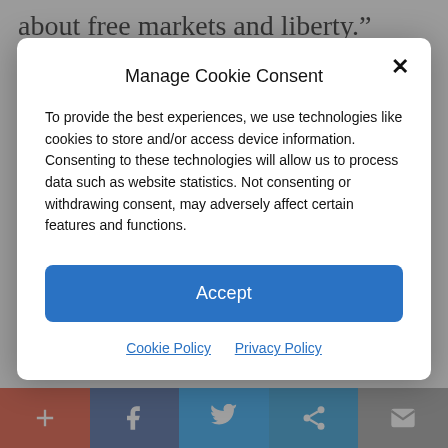about free markets and liberty.”
In a separate post, he sounded the alarm
Manage Cookie Consent
To provide the best experiences, we use technologies like cookies to store and/or access device information. Consenting to these technologies will allow us to process data such as website statistics. Not consenting or withdrawing consent, may adversely affect certain features and functions.
Accept
Cookie Policy   Privacy Policy
one.
[Figure (screenshot): Social media sharing bar with five buttons: add (+), Facebook, Twitter, share (chain link), and email icons]